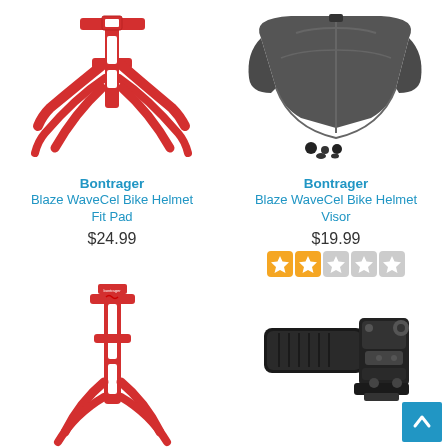[Figure (photo): Red bicycle water bottle cage with multi-pronged frame design]
Bontrager
Blaze WaveCel Bike Helmet Fit Pad
$24.99
[Figure (photo): Dark gray bike helmet visor with mounting screws]
Bontrager
Blaze WaveCel Bike Helmet Visor
$19.99
1 Review
[Figure (photo): Red bicycle water bottle cage top view]
[Figure (photo): Black bike accessory mount/holder with back-to-top button overlay]